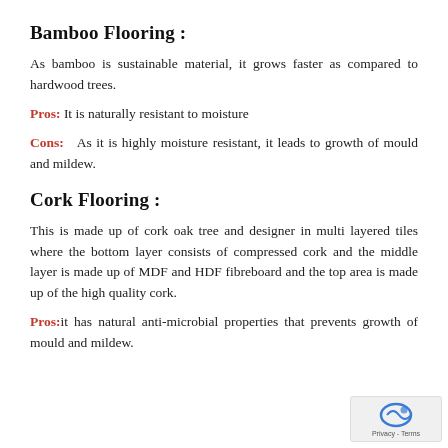Bamboo Flooring :
As bamboo is sustainable material, it grows faster as compared to hardwood trees.
Pros: It is naturally resistant to moisture
Cons: As it is highly moisture resistant, it leads to growth of mould and mildew.
Cork Flooring :
This is made up of cork oak tree and designer in multi layered tiles where the bottom layer consists of compressed cork and the middle layer is made up of MDF and HDF fibreboard and the top area is made up of the high quality cork.
Pros: it has natural anti-microbial properties that prevents growth of mould and mildew.